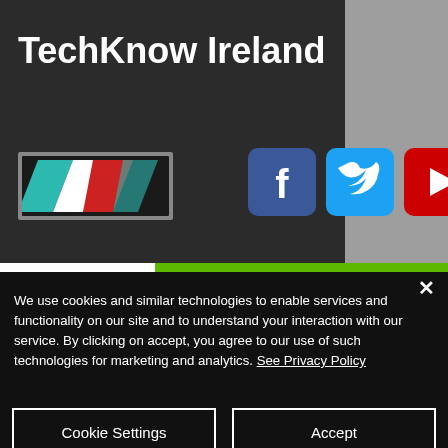TechKnow Ireland
[Figure (logo): TechKnow Ireland logo strip with diagonal stripes in teal, white, and red on a dark background with silver border]
[Figure (logo): Social media icons: Facebook (blue square with f), Twitter (blue square with bird), YouTube (red square with play button)]
Post
All Posts
We use cookies and similar technologies to enable services and functionality on our site and to understand your interaction with our service. By clicking on accept, you agree to our use of such technologies for marketing and analytics. See Privacy Policy
Cookie Settings
Accept